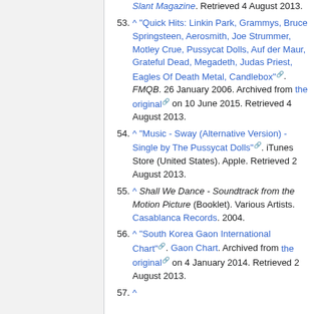52. ^ [link: Slant Magazine]. Retrieved 4 August 2013.
53. ^ "Quick Hits: Linkin Park, Grammys, Bruce Springsteen, Aerosmith, Joe Strummer, Motley Crue, Pussycat Dolls, Auf der Maur, Grateful Dead, Megadeth, Judas Priest, Eagles Of Death Metal, Candlebox" [ext]. FMQB. 26 January 2006. Archived from the original [ext] on 10 June 2015. Retrieved 4 August 2013.
54. ^ "Music - Sway (Alternative Version) - Single by The Pussycat Dolls" [ext]. iTunes Store (United States). Apple. Retrieved 2 August 2013.
55. ^ Shall We Dance - Soundtrack from the Motion Picture (Booklet). Various Artists. Casablanca Records. 2004.
56. ^ "South Korea Gaon International Chart" [ext]. Gaon Chart. Archived from the original [ext] on 4 January 2014. Retrieved 2 August 2013.
57. ^ [partial, cut off]